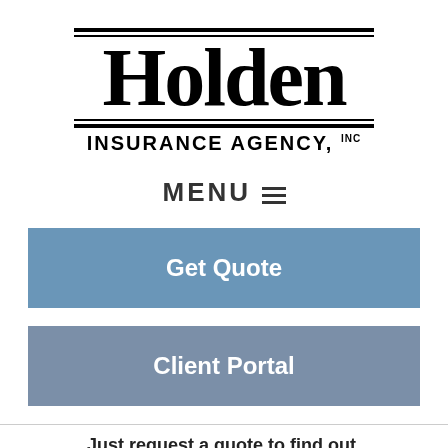[Figure (logo): Holden Insurance Agency, Inc. logo with bold serif 'Holden' text and horizontal lines above and below, with 'INSURANCE AGENCY, INC' subtitle]
MENU ☰
Get Quote
Client Portal
Just request a quote to find out.